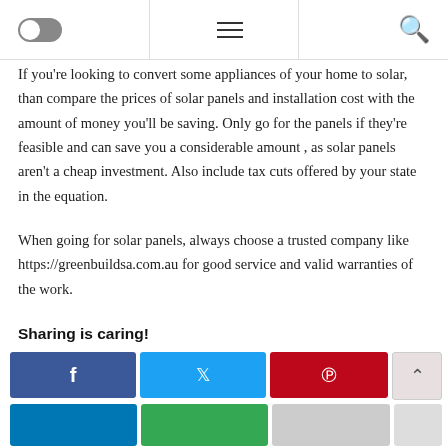[Figure (screenshot): Website navigation bar with toggle switch, hamburger menu icon, and search icon]
If you're looking to convert some appliances of your home to solar, than compare the prices of solar panels and installation cost with the amount of money you'll be saving. Only go for the panels if they're feasible and can save you a considerable amount , as solar panels aren't a cheap investment. Also include tax cuts offered by your state in the equation.
When going for solar panels, always choose a trusted company like https://greenbuildsa.com.au for good service and valid warranties of the work.
Sharing is caring!
[Figure (screenshot): Social sharing buttons: Facebook (blue), Twitter (light blue), Pinterest (red), scroll-up button, LinkedIn (blue), Email (green), and a grey button]